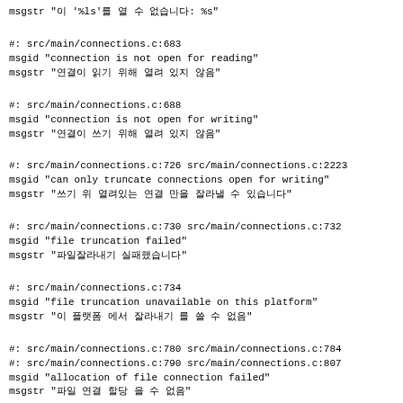msgstr "이 '%ls'를 열 수 없습니다: %s"
#: src/main/connections.c:683
msgid "connection is not open for reading"
msgstr "연결이 읽기 위해 열려 있지 않음"
#: src/main/connections.c:688
msgid "connection is not open for writing"
msgstr "연결이 쓰기 위해 열려 있지 않음"
#: src/main/connections.c:726 src/main/connections.c:2223
msgid "can only truncate connections open for writing"
msgstr "쓰기 위 열려있는 연결 만을 잘라낼 수 있습니다"
#: src/main/connections.c:730 src/main/connections.c:732
msgid "file truncation failed"
msgstr "파일잘라내기 실패했습니다"
#: src/main/connections.c:734
msgid "file truncation unavailable on this platform"
msgstr "이 플랫폼 에서 잘라내기 를 쓸 수 없음"
#: src/main/connections.c:780 src/main/connections.c:784
#: src/main/connections.c:790 src/main/connections.c:807
msgid "allocation of file connection failed"
msgstr "파일 연결 할당 을 수 없음"
#: src/main/connections.c:858 src/main/connections.c:1035
#, c-format
msgid "cannot create fifo '%s', reason '%s'"
msgstr "fifo '%s'를 만들 수 없습니다, 이유 '%s'입니다"
#: src/main/connections.c:864
#, c-format
msgid "'%s' exists but is not a fifo"
msgstr "'%s'이 존재하지만 fifo이 아닙니다"